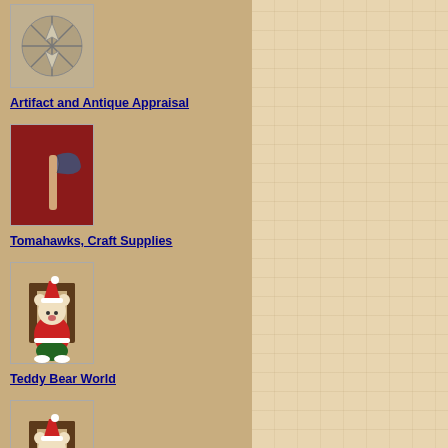[Figure (photo): Artifact/arrowhead image on tan background]
Artifact and Antique Appraisal
[Figure (photo): Tomahawk/axe image on red background]
Tomahawks, Craft Supplies
[Figure (photo): Teddy bear in Santa outfit sitting on chair]
Teddy Bear World
[Figure (photo): Teddy bear in Santa outfit sitting on chair]
Build Me a Webpage